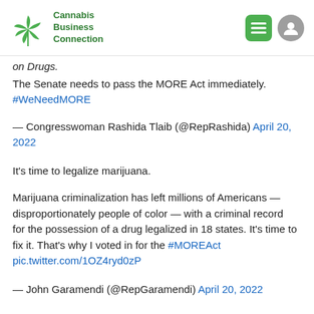Cannabis Business Connection
on Drugs.
The Senate needs to pass the MORE Act immediately. #WeNeedMORE
— Congresswoman Rashida Tlaib (@RepRashida) April 20, 2022
It's time to legalize marijuana.
Marijuana criminalization has left millions of Americans — disproportionately people of color — with a criminal record for the possession of a drug legalized in 18 states. It's time to fix it. That's why I voted in for the #MOREAct pic.twitter.com/1OZ4ryd0zP
— John Garamendi (@RepGaramendi) April 20, 2022